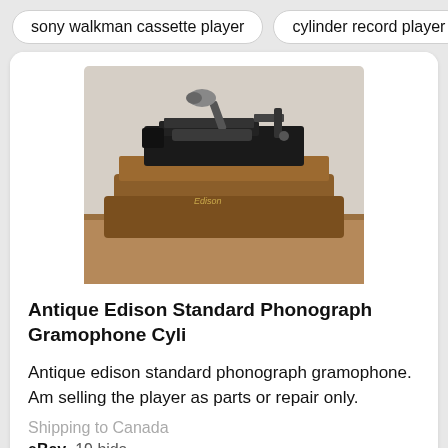sony walkman cassette player
cylinder record player
[Figure (photo): Antique Edison Standard Phonograph Gramophone cylinder record player sitting on a wooden box, photographed on a wooden table surface. The device has a black mechanical arm and cylinder mechanism mounted on a brown wooden case.]
Antique Edison Standard Phonograph Gramophone Cyli
Antique edison standard phonograph gramophone. Am selling the player as parts or repair only.
Shipping to Canada
eBay  19 bids,
Price: 158 C$